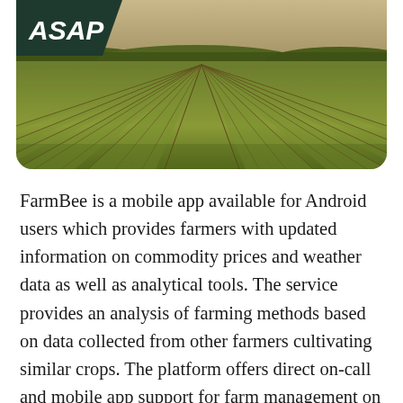[Figure (photo): Aerial view of a large agricultural field with rows of crops extending to the horizon, with hills and trees in the background. Warm golden-green tones.]
FarmBee is a mobile app available for Android users which provides farmers with updated information on commodity prices and weather data as well as analytical tools. The service provides an analysis of farming methods based on data collected from other farmers cultivating similar crops. The platform offers direct on-call and mobile app support for farm management on pests, diseases, nutrition, weeds, and other issues.